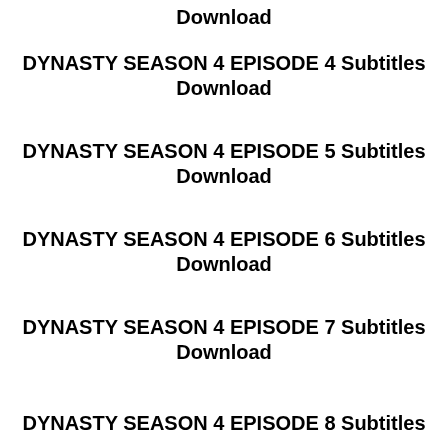Download
DYNASTY SEASON 4 EPISODE 4 Subtitles Download
DYNASTY SEASON 4 EPISODE 5 Subtitles Download
DYNASTY SEASON 4 EPISODE 6 Subtitles Download
DYNASTY SEASON 4 EPISODE 7 Subtitles Download
DYNASTY SEASON 4 EPISODE 8 Subtitles